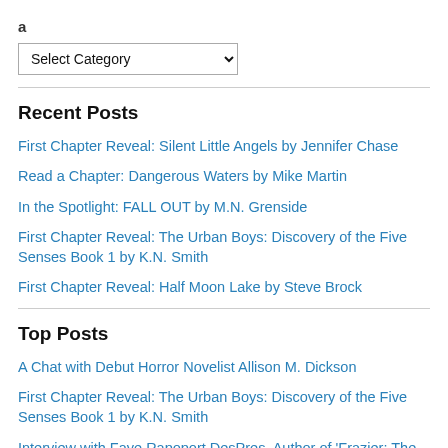a
Select Category (dropdown)
Recent Posts
First Chapter Reveal: Silent Little Angels by Jennifer Chase
Read a Chapter: Dangerous Waters by Mike Martin
In the Spotlight: FALL OUT by M.N. Grenside
First Chapter Reveal: The Urban Boys: Discovery of the Five Senses Book 1 by K.N. Smith
First Chapter Reveal: Half Moon Lake by Steve Brock
Top Posts
A Chat with Debut Horror Novelist Allison M. Dickson
First Chapter Reveal: The Urban Boys: Discovery of the Five Senses Book 1 by K.N. Smith
Interview with Faye Rapoport DesPres, Author of 'Frazier: The Very